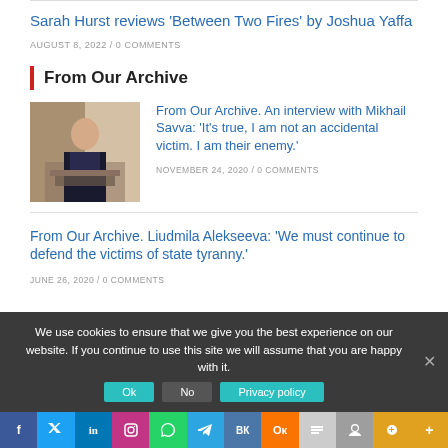Sarah Hurst reviews 'Between Two Fires' by Joshua Yaffa
AUGUST 8, 2022 / 0 COMMENTS
From Our Archive
[Figure (photo): Man in suit sitting at desk]
From Our Archive. An interview with Mikhail Savva: 'It's true, I am not an accidental victim. I am their enemy.'
NOVEMBER 24, 2020 / 0 COMMENTS
From Our Archive. Liudmila Alekseeva: 'We must continue to defend the victims of state tyranny.'
JUNE 26, 2020 / 0 COMMENTS
We use cookies to ensure that we give you the best experience on our website. If you continue to use this site we will assume that you are happy with it.
Ok   No   Privacy policy